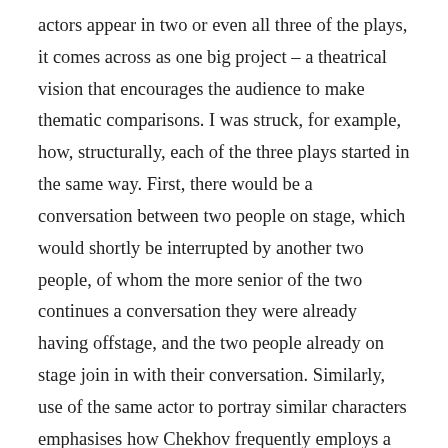actors appear in two or even all three of the plays, it comes across as one big project – a theatrical vision that encourages the audience to make thematic comparisons. I was struck, for example, how, structurally, each of the three plays started in the same way. First, there would be a conversation between two people on stage, which would shortly be interrupted by another two people, of whom the more senior of the two continues a conversation they were already having offstage, and the two people already on stage join in with their conversation. Similarly, use of the same actor to portray similar characters emphasises how Chekhov frequently employs a “type” in his plays – the impoverished schoolteacher, the doctor, the uncle, the landowner, the merchant, the writer, the frumpy female relative, and, of course, the old retainer. Chuck in some actors and some military men and you have a smorgasbord